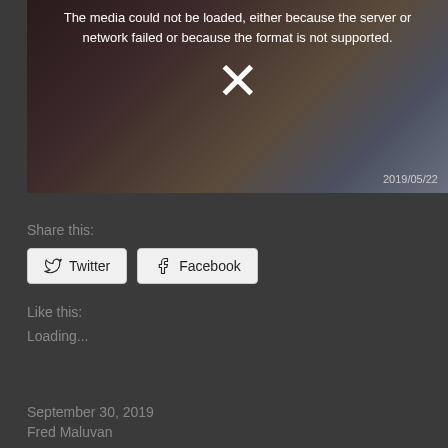[Figure (screenshot): Video player showing error message: 'The media could not be loaded, either because the server or network failed or because the format is not supported.' with an X symbol and date stamp 2019/05/22]
Share this:
Twitter
Facebook
Like this:
Loading...
September 30, 2019
Fred Maluvan